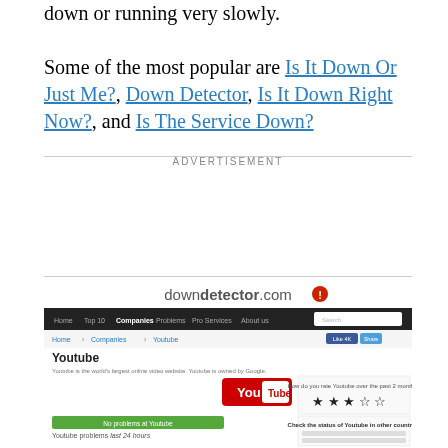down or running very slowly. Some of the most popular are Is It Down Or Just Me?, Down Detector, Is It Down Right Now?, and Is The Service Down?
ADVERTISEMENT
[Figure (screenshot): Screenshot of downdetector.com showing the YouTube page with status information, a green 'No problems at Youtube' bar, and a graph for Youtube problems in the last 24 hours.]